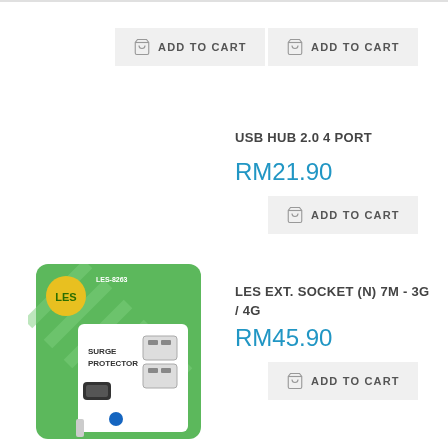[Figure (other): Add to Cart button (top left)]
[Figure (other): Add to Cart button (top right)]
USB HUB 2.0 4 PORT
RM21.90
[Figure (other): Add to Cart button (middle right)]
[Figure (photo): LES Surge Protector extension socket product packaging photo]
LES EXT. SOCKET (N) 7M - 3G / 4G
RM45.90
[Figure (other): Add to Cart button (bottom right)]